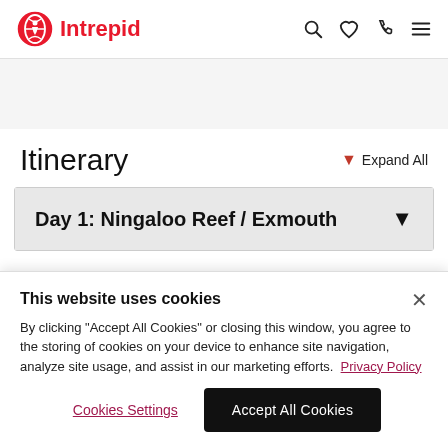Intrepid
Itinerary
Day 1: Ningaloo Reef / Exmouth
This website uses cookies
By clicking "Accept All Cookies" or closing this window, you agree to the storing of cookies on your device to enhance site navigation, analyze site usage, and assist in our marketing efforts. Privacy Policy
Cookies Settings  Accept All Cookies